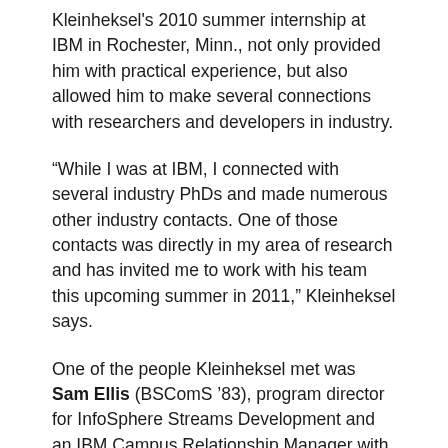Kleinheksel's 2010 summer internship at IBM in Rochester, Minn., not only provided him with practical experience, but also allowed him to make several connections with researchers and developers in industry.
“While I was at IBM, I connected with several industry PhDs and made numerous other industry contacts. One of those contacts was directly in my area of research and has invited me to work with his team this upcoming summer in 2011,” Kleinheksel says.
One of the people Kleinheksel met was Sam Ellis (BSComS ’83), program director for InfoSphere Streams Development and an IBM Campus Relationship Manager with Iowa State. Ellis, who will serve as a mentor for both Kleinheksel and Idziorek during their fellowships, says Kleinheksel’s research